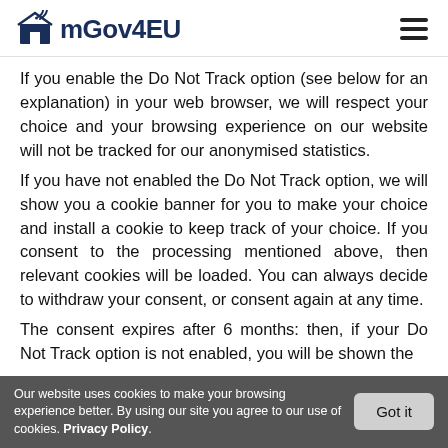mGov4EU
If you enable the Do Not Track option (see below for an explanation) in your web browser, we will respect your choice and your browsing experience on our website will not be tracked for our anonymised statistics.
If you have not enabled the Do Not Track option, we will show you a cookie banner for you to make your choice and install a cookie to keep track of your choice. If you consent to the processing mentioned above, then relevant cookies will be loaded. You can always decide to withdraw your consent, or consent again at any time.
The consent expires after 6 months: then, if your Do Not Track option is not enabled, you will be shown the
Our website uses cookies to make your browsing experience better. By using our site you agree to our use of cookies. Privacy Policy.